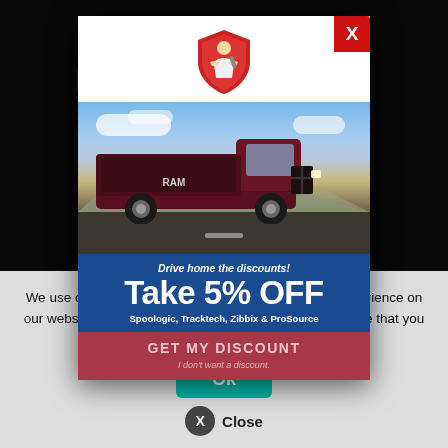Lar and
We provi e of your
[Figure (screenshot): Promotional modal popup for automotive discount offer. Shows a mechanic shield logo, sky with clouds background, dark red RAM truck on a road, and text: 'Drive home the discounts! Take 5% OFF Spoologic, Tracktech, Zibbix & ProSource'. Has a red close X button in top right, a GET MY DISCOUNT button, and an italic 'I don't want a discount.' dismissal link.]
We use cookies to ensure that we give you the best experience on our website. If you continue to use this site we will assume that you are happy with it.
Ok
X Close